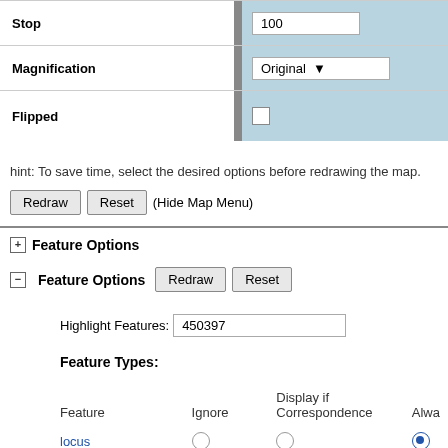| Field |  | Value |
| --- | --- | --- |
| Stop |  | 100 |
| Magnification |  | Original |
| Flipped |  |  |
hint: To save time, select the desired options before redrawing the map.
Redraw  Reset  (Hide Map Menu)
Feature Options
Feature Options  Redraw  Reset
Highlight Features: 450397
Feature Types:
| Feature | Ignore | Display if Correspondence | Always |
| --- | --- | --- | --- |
| locus | ○ | ○ | ● |
| qtl | ○ | ○ | ● |
| Other | ○ | ○ | ○ |